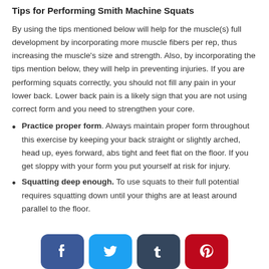Tips for Performing Smith Machine Squats
By using the tips mentioned below will help for the muscle(s) full development by incorporating more muscle fibers per rep, thus increasing the muscle’s size and strength. Also, by incorporating the tips mention below, they will help in preventing injuries. If you are performing squats correctly, you should not fill any pain in your lower back. Lower back pain is a likely sign that you are not using correct form and you need to strengthen your core.
Practice proper form. Always maintain proper form throughout this exercise by keeping your back straight or slightly arched, head up, eyes forward, abs tight and feet flat on the floor. If you get sloppy with your form you put yourself at risk for injury.
Squatting deep enough. To use squats to their full potential requires squatting down until your thighs are at least around parallel to the floor.